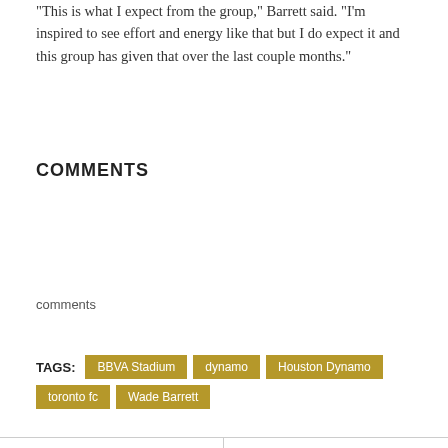“This is what I expect from the group,” Barrett said. “I’m inspired to see effort and energy like that but I do expect it and this group has given that over the last couple months.”
COMMENTS
comments
TAGS: BBVA Stadium  dynamo  Houston Dynamo  toronto fc  Wade Barrett
PREVIOUS POST
COUGARS DEFENSE STANDS OUT DURING PRACTICE WITH RECRUITS SETTING
NEXT POST
COLLEGE FOOTBALL: UH FOOTBALL TRAINING CAMP DAY 10 (PHOTO GALLERY)